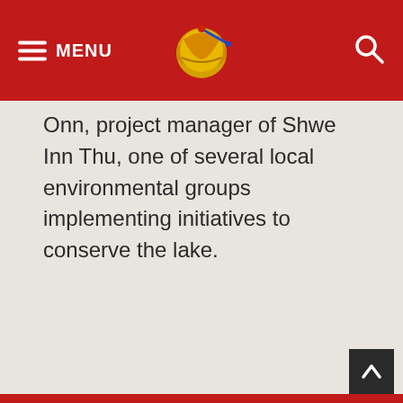MENU [logo] [search]
Onn, project manager of Shwe Inn Thu, one of several local environmental groups implementing initiatives to conserve the lake.